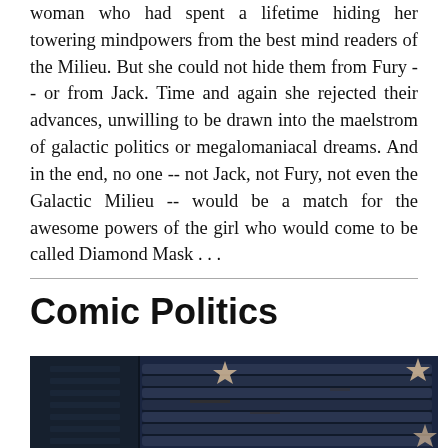woman who had spent a lifetime hiding her towering mindpowers from the best mind readers of the Milieu. But she could not hide them from Fury -- or from Jack. Time and again she rejected their advances, unwilling to be drawn into the maelstrom of galactic politics or megalomaniacal dreams. And in the end, no one -- not Jack, not Fury, not even the Galactic Milieu -- would be a match for the awesome powers of the girl who would come to be called Diamond Mask . . .
Comic Politics
[Figure (photo): A close-up photograph of what appears to be a dark metallic surface with ridged/grooved texture, with star-shaped decorative elements visible on a dark blue background - possibly a decorative metal panel or surface with flag/patriotic stars.]